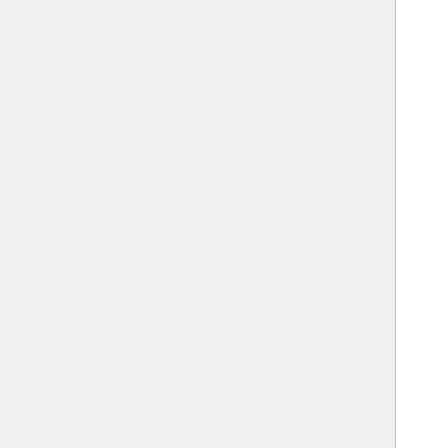War-stead • Eastern Blockade • Maudhúl Grak The Beacon Hills: Erelas • Min-Rimmon • Rimmon Quarry • Ost Rimmon • Calenhad • Halifirien Firien Wood • Amon Hen • The Falls of Rauros • Mouths of Entwash Battle of Pelennor